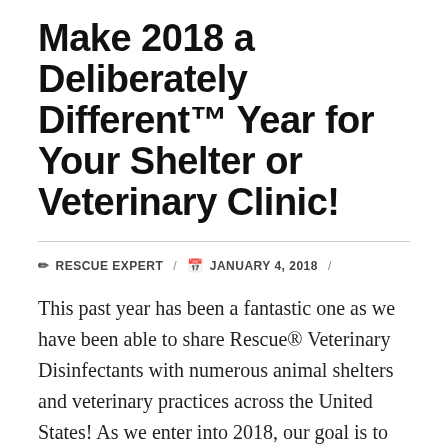Make 2018 a Deliberately Different™ Year for Your Shelter or Veterinary Clinic!
✏ RESCUE EXPERT  /  📅 JANUARY 4, 2018  /
This past year has been a fantastic one as we have been able to share Rescue® Veterinary Disinfectants with numerous animal shelters and veterinary practices across the United States! As we enter into 2018, our goal is to continue to help shelters and veterinary practices see the